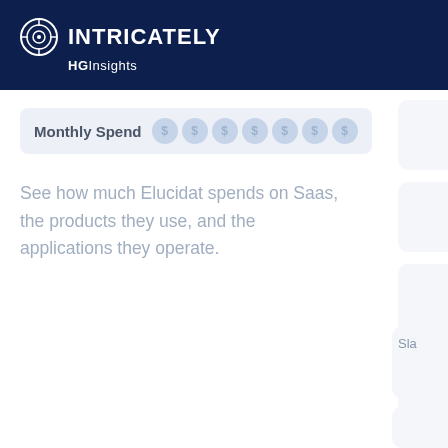[Figure (logo): Intricately HG Insights logo with circular icon on dark navy background]
Monthly Spend
See how much Elucidat spends on Saas, the products they use, and the applications they operate.